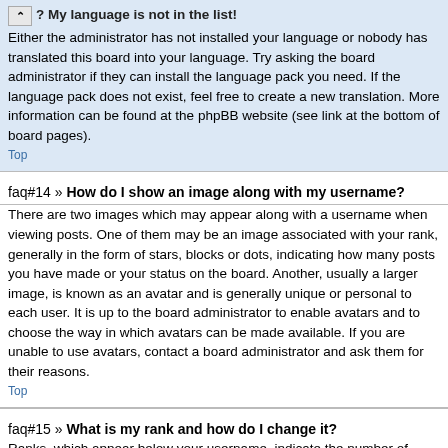? My language is not in the list! Either the administrator has not installed your language or nobody has translated this board into your language. Try asking the board administrator if they can install the language pack you need. If the language pack does not exist, feel free to create a new translation. More information can be found at the phpBB website (see link at the bottom of board pages).
Top
faq#14 » How do I show an image along with my username?
There are two images which may appear along with a username when viewing posts. One of them may be an image associated with your rank, generally in the form of stars, blocks or dots, indicating how many posts you have made or your status on the board. Another, usually a larger image, is known as an avatar and is generally unique or personal to each user. It is up to the board administrator to enable avatars and to choose the way in which avatars can be made available. If you are unable to use avatars, contact a board administrator and ask them for their reasons.
Top
faq#15 » What is my rank and how do I change it?
Ranks, which appear below your username, indicate the number of